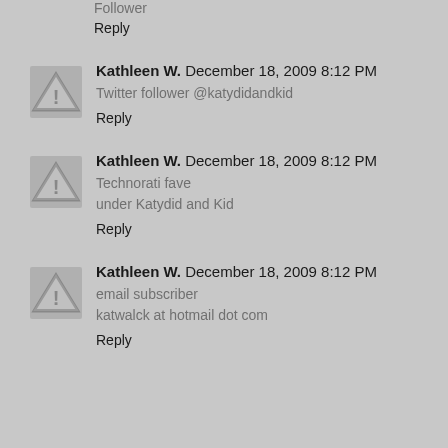Follower
Reply
Kathleen W.  December 18, 2009 8:12 PM
Twitter follower @katydidandkid
Reply
Kathleen W.  December 18, 2009 8:12 PM
Technorati fave
under Katydid and Kid
Reply
Kathleen W.  December 18, 2009 8:12 PM
email subscriber
katwalck at hotmail dot com
Reply